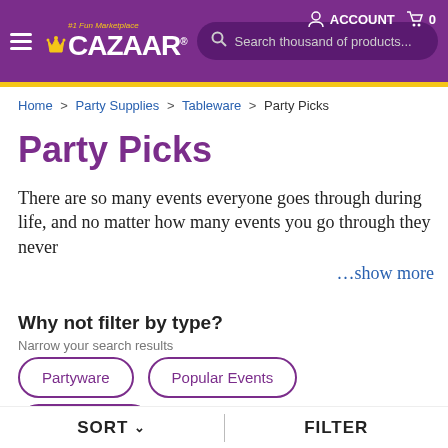CAZAAR #1 Fun Marketplace | ACCOUNT | 0 | Search thousand of products...
Home > Party Supplies > Tableware > Party Picks
Party Picks
There are so many events everyone goes through during life, and no matter how many events you go through they never …show more
Why not filter by type?
Narrow your search results
Partyware
Popular Events
Party Theme
SORT ∨ | FILTER